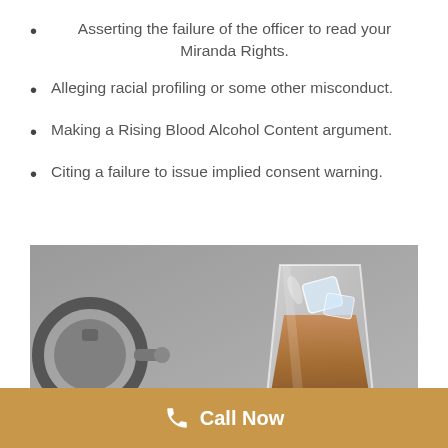Asserting the failure of the officer to read your Miranda Rights.
Alleging racial profiling or some other misconduct.
Making a Rising Blood Alcohol Content argument.
Citing a failure to issue implied consent warning.
[Figure (photo): Photo showing handcuffs and a glass of whiskey with ice on a grey surface, representing DUI/drunk driving legal context.]
Call Now